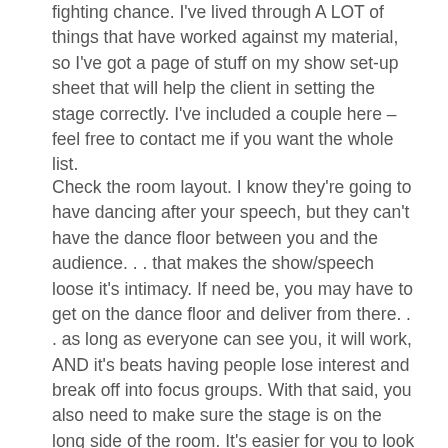fighting chance. I've lived through A LOT of things that have worked against my material, so I've got a page of stuff on my show set-up sheet that will help the client in setting the stage correctly. I've included a couple here – feel free to contact me if you want the whole list.
Check the room layout. I know they're going to have dancing after your speech, but they can't have the dance floor between you and the audience. . . that makes the show/speech loose it's intimacy. If need be, you may have to get on the dance floor and deliver from there. . . as long as everyone can see you, it will work, AND it's beats having people lose interest and break off into focus groups. With that said, you also need to make sure the stage is on the long side of the room. It's easier for you to look left and right than try to engage the people who are wayyyyyy in the back of a long room. If the room is too long, make sure you have imag screens up front